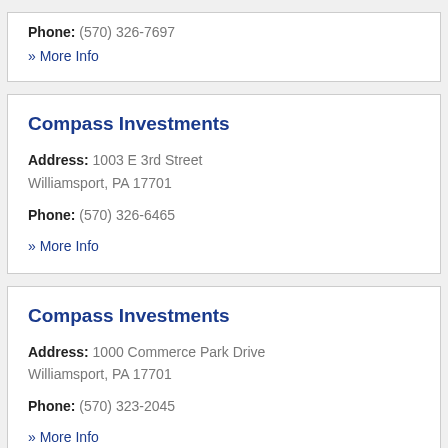Phone: (570) 326-7697
» More Info
Compass Investments
Address: 1003 E 3rd Street Williamsport, PA 17701
Phone: (570) 326-6465
» More Info
Compass Investments
Address: 1000 Commerce Park Drive Williamsport, PA 17701
Phone: (570) 323-2045
» More Info